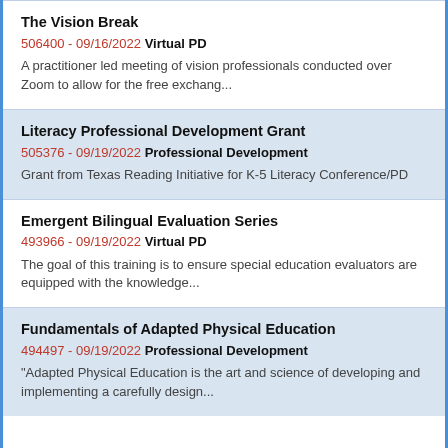The Vision Break
506400 - 09/16/2022 Virtual PD
A practitioner led meeting of vision professionals conducted over Zoom to allow for the free exchang...
Literacy Professional Development Grant
505376 - 09/19/2022 Professional Development
Grant from Texas Reading Initiative for K-5 Literacy Conference/PD
Emergent Bilingual Evaluation Series
493966 - 09/19/2022 Virtual PD
The goal of this training is to ensure special education evaluators are equipped with the knowledge...
Fundamentals of Adapted Physical Education
494497 - 09/19/2022 Professional Development
"Adapted Physical Education is the art and science of developing and implementing a carefully design...